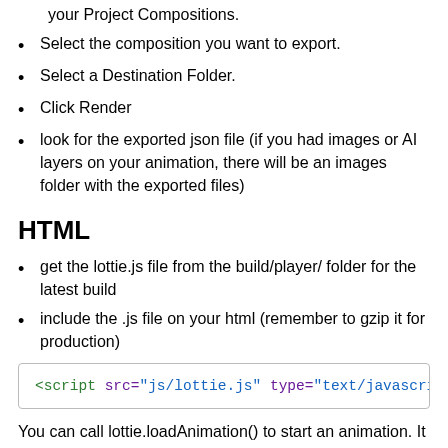A Panel will open with a Compositions tab listing all of your Project Compositions.
Select the composition you want to export.
Select a Destination Folder.
Click Render
look for the exported json file (if you had images or AI layers on your animation, there will be an images folder with the exported files)
HTML
get the lottie.js file from the build/player/ folder for the latest build
include the .js file on your html (remember to gzip it for production)
<script src="js/lottie.js" type="text/javascript":
You can call lottie.loadAnimation() to start an animation. It takes an object as a unique param with:
animationData: an Object with the exported animation